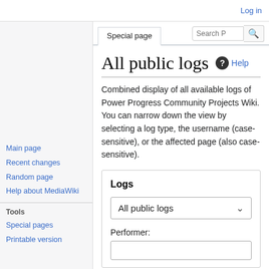Log in
Special page
All public logs
Combined display of all available logs of Power Progress Community Projects Wiki. You can narrow down the view by selecting a log type, the username (case-sensitive), or the affected page (also case-sensitive).
Logs
Main page
Recent changes
Random page
Help about MediaWiki
Tools
Special pages
Printable version